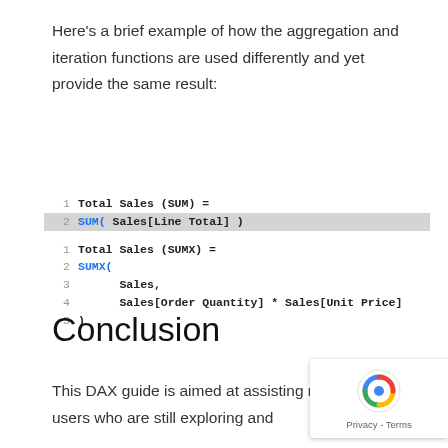Here's a brief example of how the aggregation and iteration functions are used differently and yet provide the same result:
Conclusion
This DAX guide is aimed at assisting new Power BI users who are still exploring and